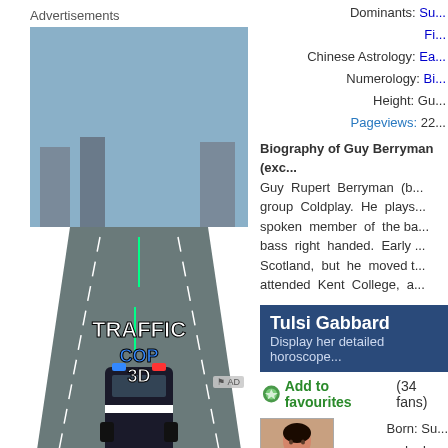Advertisements
[Figure (screenshot): Traffic Cop 3D game advertisement with road scene, police car, and Play now button]
Traffic Cop 3D
5 free
Dominants: Su... Fi...
Chinese Astrology: Ea...
Numerology: Bi...
Height: Gu...
Pageviews: 22...
Biography of Guy Berryman (exc... Guy Rupert Berryman (b... group Coldplay. He plays... spoken member of the ba... bass right handed. Early... Scotland, but he moved t... attended Kent College, a...
Tulsi Gabbard
Display her detailed horoscope...
Add to favourites (34 fans)
Born: Su...
In: Le...
Sun: 22...